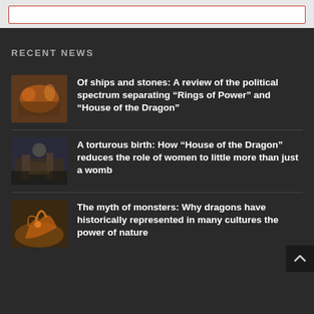RECENT NEWS
Of ships and stones: A review of the political spectrum separating “Rings of Power” and “House of the Dragon”
A torturous birth: How “House of the Dragon” reduces the role of women to little more than just a womb
The myth of monsters: Why dragons have historically represented in many cultures the power of nature